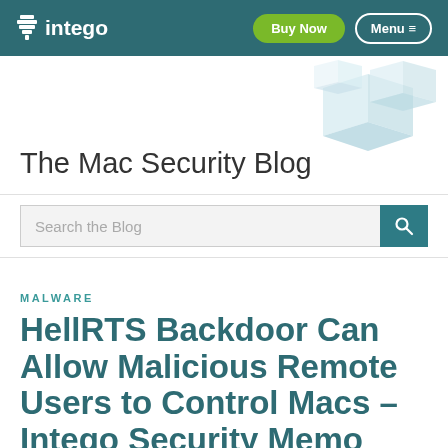intego | Buy Now | Menu
The Mac Security Blog
Search the Blog
MALWARE
HellRTS Backdoor Can Allow Malicious Remote Users to Control Macs – Intego Security Memo
Posted on April 16th, 2010 by Peter James